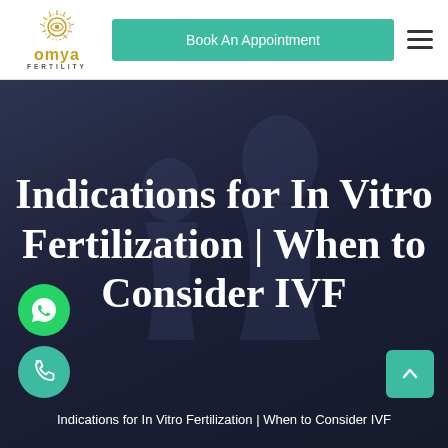[Figure (logo): Omya Fertility clinic logo with sun/eye icon in gold, text 'omya' in gold and 'FERTILITY' in grey below]
[Figure (screenshot): Navigation header with Omya Fertility logo, teal 'Book An Appointment' button, and hamburger menu icon]
Indications for In Vitro Fertilization | When to Consider IVF
Indications for In Vitro Fertilization | When to Consider IVF